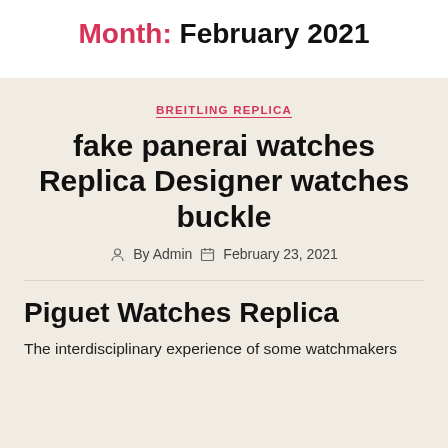Month: February 2021
BREITLING REPLICA
fake panerai watches Replica Designer watches buckle
By Admin  February 23, 2021
Piguet Watches Replica
The interdisciplinary experience of some watchmakers